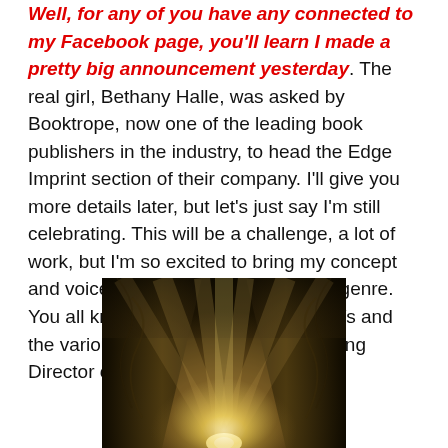Well, for any of you have any connected to my Facebook page, you'll learn I made a pretty big announcement yesterday. The real girl, Bethany Halle, was asked by Booktrope, now one of the leading book publishers in the industry, to head the Edge Imprint section of their company. I'll give you more details later, but let's just say I'm still celebrating. This will be a challenge, a lot of work, but I'm so excited to bring my concept and voice to an often misunderstood genre. You all know I write tirelessly about D/s and the various lifestyles. In being Managing Director of the line, I'll be able to
[Figure (photo): A dark cave or rock formation with bright light streaming through a narrow gap in the center, creating dramatic rays against dark stone walls.]